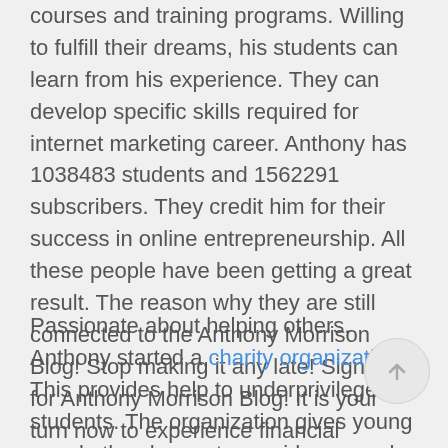courses and training programs. Willing to fulfill their dreams, his students can learn from his experience. They can develop specific skills required for internet marketing career. Anthony has 1038483 students and 1562291 subscribers. They credit him for their success in online entrepreneurship. All these people have been getting a great result. The reason why they are still connected to the Anthony Morrison Blog! Stop making it any late! Sign up for Anthony Morrison Blog! It is your turn now to experience financial freedom.
Passionate about helping others, Anthony started a charity organization. This provides help to underprivileged students. The organization gives young people the chance to provide as much as they can. Positivity